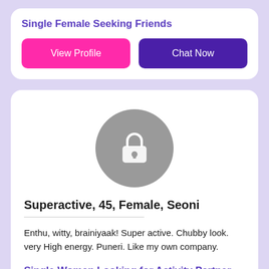Single Female Seeking Friends
View Profile
Chat Now
[Figure (illustration): Circular grey avatar placeholder with a white padlock icon in the center]
Superactive, 45, Female, Seoni
Enthu, witty, brainiyaak! Super active. Chubby look. very High energy. Puneri. Like my own company.
Single Woman Looking for Activity Partner
View Profile
Chat Now